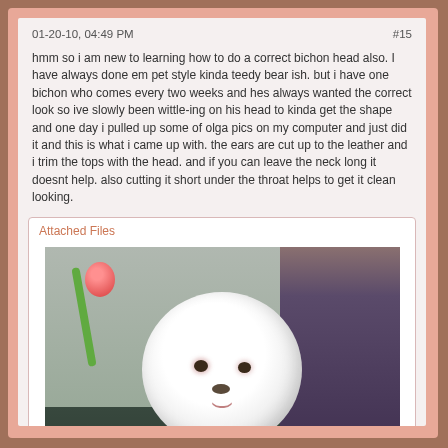01-20-10, 04:49 PM
#15
hmm so i am new to learning how to do a correct bichon head also. I have always done em pet style kinda teedy bear ish. but i have one bichon who comes every two weeks and hes always wanted the correct look so ive slowly been wittle-ing on his head to kinda get the shape and one day i pulled up some of olga pics on my computer and just did it and this is what i came up with. the ears are cut up to the leather and i trim the tops with the head. and if you can leave the neck long it doesnt help. also cutting it short under the throat helps to get it clean looking.
Attached Files
[Figure (photo): A white fluffy Bichon Frise dog with a round groomed head, being held by a person in a purple jacket. The dog has pink-tinged eyes visible and a black nose. Background shows a grooming salon setting.]